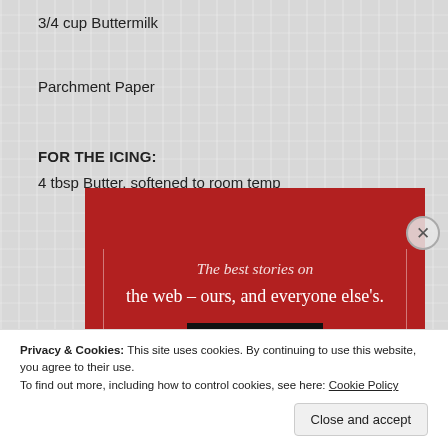3/4 cup Buttermilk
Parchment Paper
FOR THE ICING:
4 tbsp Butter, softened to room temp
[Figure (screenshot): Red advertisement banner with white serif text reading 'The best stories on the web – ours, and everyone else's.' and a black 'Start reading' button]
Privacy & Cookies: This site uses cookies. By continuing to use this website, you agree to their use.
To find out more, including how to control cookies, see here: Cookie Policy
Close and accept